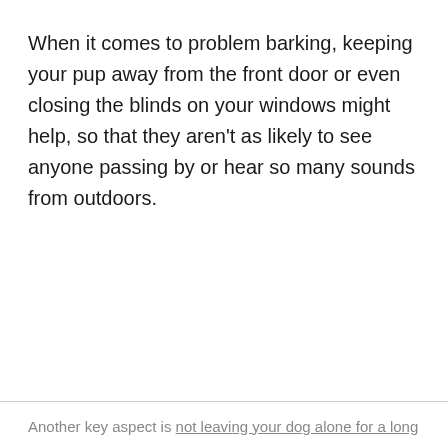When it comes to problem barking, keeping your pup away from the front door or even closing the blinds on your windows might help, so that they aren't as likely to see anyone passing by or hear so many sounds from outdoors.
Another key aspect is not leaving your dog alone for a long...